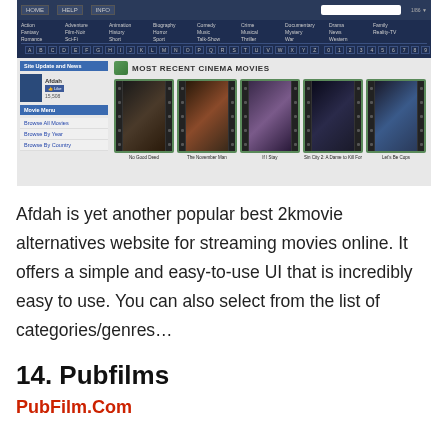[Figure (screenshot): Screenshot of Afdah movie streaming website showing navigation menu with genre categories (Action, Adventure, Animation, Biography, Comedy, Crime, Documentary, Drama, Family, Fantasy, Film-Noir, History, Horror, Music, Musical, Mystery, News, Reality-TV, Romance, Sci-Fi, Short, Sport, Talk-Show, Thriller, War, Western), alphabetical index bar, left sidebar with Site Update and News section showing Afdah Facebook like button with 15,508 likes and Movie Menu with Browse All Movies, Browse By Year, Browse By Country links, and main content area showing Most Recent Cinema Movies with 5 movie posters: No Good Deed, The November Man, If I Stay, Sin City 2: A Dame to Kill For, Let's Be Cops]
Afdah is yet another popular best 2kmovie alternatives website for streaming movies online. It offers a simple and easy-to-use UI that is incredibly easy to use. You can also select from the list of categories/genres…
14. Pubfilms
PubFilm.Com